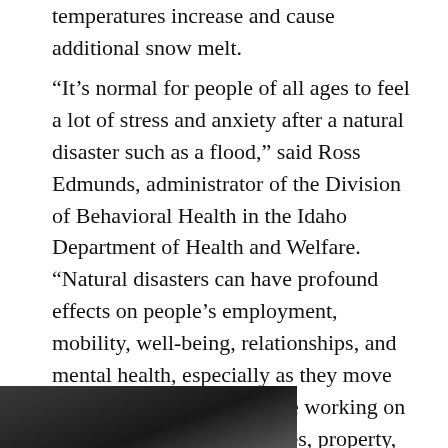temperatures increase and cause additional snow melt.
“It’s normal for people of all ages to feel a lot of stress and anxiety after a natural disaster such as a flood,” said Ross Edmunds, administrator of the Division of Behavioral Health in the Idaho Department of Health and Welfare. “Natural disasters can have profound effects on people’s employment, mobility, well-being, relationships, and mental health, especially as they move beyond the flooding and are working on recovering their regular lives, property, and their relationships.” CONTINUE READING →
[Figure (photo): Partial photo strip at bottom left of page, showing a dark image (person or scene), partially cropped.]